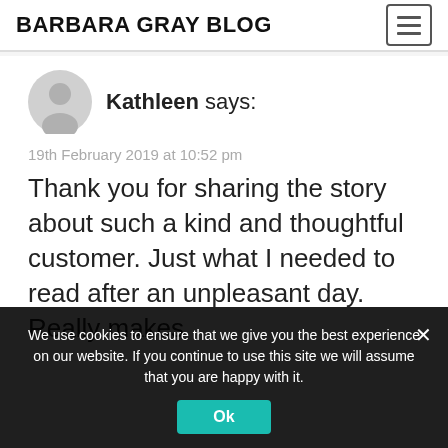BARBARA GRAY BLOG
Kathleen says:
19th February 2019 at 10:52 pm
Thank you for sharing the story about such a kind and thoughtful customer. Just what I needed to read after an unpleasant day. Really makes
We use cookies to ensure that we give you the best experience on our website. If you continue to use this site we will assume that you are happy with it.